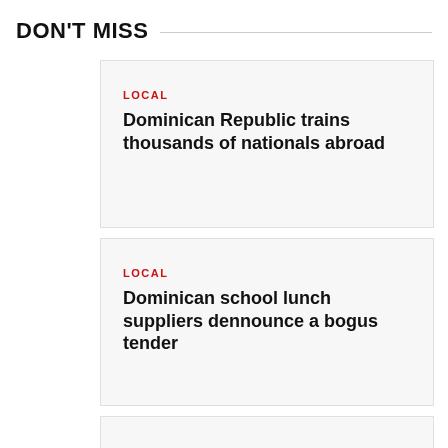DON'T MISS
LOCAL
Dominican Republic trains thousands of nationals abroad
LOCAL
Dominican school lunch suppliers dennounce a bogus tender